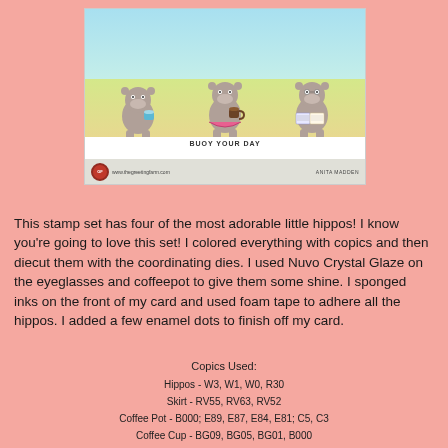[Figure (photo): Photo of a handmade greeting card featuring three cute cartoon hippos on a beach scene with text 'BUOY YOUR DAY'. Card shows logo for The Greeting Farm and artist name Anita Madden.]
This stamp set has four of the most adorable little hippos!  I know you're going to love this set!  I colored everything with copics and then diecut them with the coordinating dies.  I used Nuvo Crystal Glaze on the eyeglasses and coffeepot to give them some shine.  I sponged inks on the front of my card and used foam tape to adhere all the hippos.  I added a few enamel dots to finish off my card.
Copics Used:
Hippos - W3, W1, W0, R30
Skirt - RV55, RV63, RV52
Coffee Pot - B000; E89, E87, E84, E81; C5, C3
Coffee Cup - BG09, BG05, BG01, B000